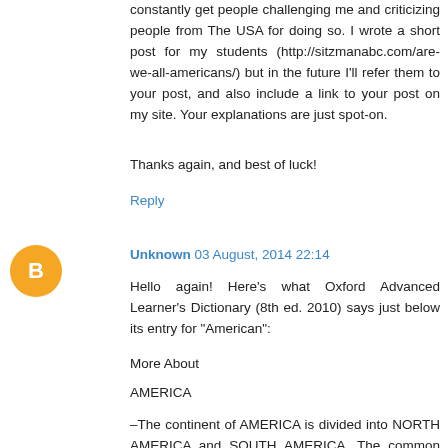constantly get people challenging me and criticizing people from The USA for doing so. I wrote a short post for my students (http://sitzmanabc.com/are-we-all-americans/) but in the future I'll refer them to your post, and also include a link to your post on my site. Your explanations are just spot-on.
Thanks again, and best of luck!
Reply
Unknown 03 August, 2014 22:14
Hello again! Here's what Oxford Advanced Learner's Dictionary (8th ed. 2010) says just below its entry for “American”:
More About
AMERICA
–The continent of AMERICA is divided into NORTH AMERICA and SOUTH AMERICA. The common use is…